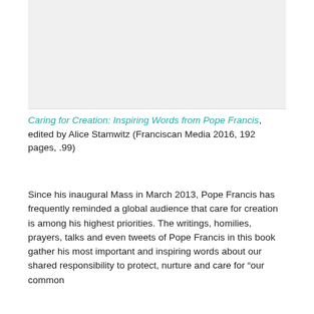[Figure (photo): Image placeholder at top of page, light gray background]
Caring for Creation: Inspiring Words from Pope Francis, edited by Alice Stamwitz (Franciscan Media 2016, 192 pages, .99)
Since his inaugural Mass in March 2013, Pope Francis has frequently reminded a global audience that care for creation is among his highest priorities. The writings, homilies, prayers, talks and even tweets of Pope Francis in this book gather his most important and inspiring words about our shared responsibility to protect, nurture and care for “our common